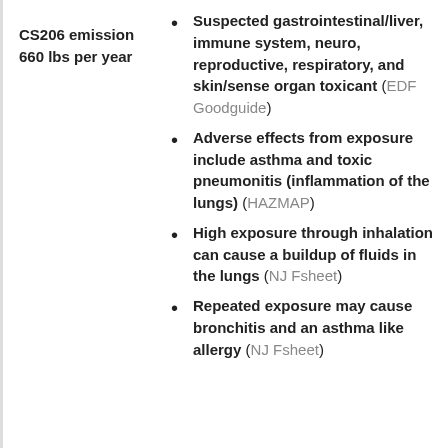CS206 emission 660 lbs per year
Suspected gastrointestinal/liver, immune system, neuro, reproductive, respiratory, and skin/sense organ toxicant (EDF Goodguide)
Adverse effects from exposure include asthma and toxic pneumonitis (inflammation of the lungs) (HAZMAP)
High exposure through inhalation can cause a buildup of fluids in the lungs (NJ Fsheet)
Repeated exposure may cause bronchitis and an asthma like allergy (NJ Fsheet)